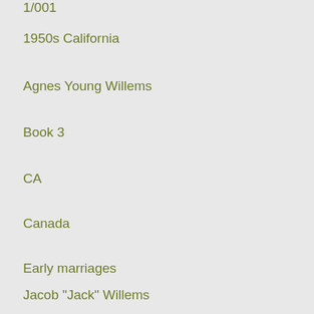1/001
1950s California
Agnes Young Willems
Book 3
CA
Canada
Early marriages
Jacob "Jack" Willems
Japan